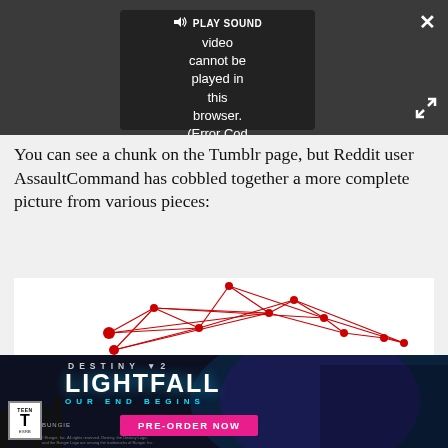[Figure (screenshot): Video player showing error message: 'PLAY SOUND Video cannot be played in this browser. (Error Cod' on dark background, with close button (×) top right and expand arrows bottom right]
You can see a chunk on the Tumblr page, but Reddit user AssaultCommand has cobbled together a more complete picture from various pieces:
[Figure (network-graph): Network graph with red dots connected by red lines forming an irregular polygon/constellation shape on white background]
[Figure (photo): Destiny 2 Lightfall advertisement banner with text 'DESTINY 2 LIGHTFALL OUR END BEGINS PRE-ORDER NOW', ESRB Teen rating badge, Bungie logo, on dark sci-fi background]